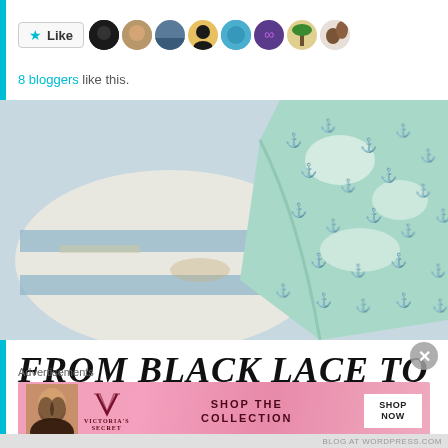[Figure (screenshot): Like button with star icon and row of 8 blogger avatar thumbnails]
8 bloggers like this.
[Figure (photo): Photo of mint green anchor-patterned fabric or blanket draped over a blue and white striped wooden stool/table]
FROM BLACK LACE TO TURQUOISE PEACHY
[Figure (screenshot): Victoria's Secret advertisement banner: woman with curly hair, VS logo, SHOP THE COLLECTION text, SHOP NOW button]
Advertisements